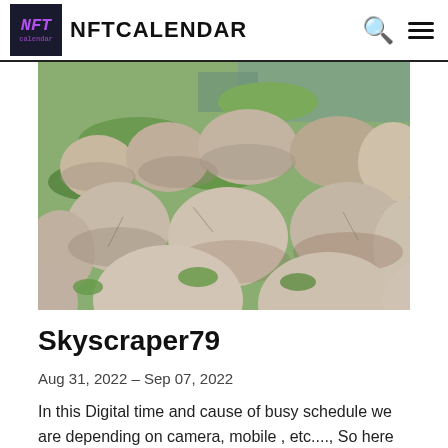NFTCALENDAR
[Figure (photo): Landscape photo showing large rounded boulders and rocks with bright green moss/grass growing between them, and a stream or river visible in the background.]
Skyscraper79
Aug 31, 2022 – Sep 07, 2022
In this Digital time and cause of busy schedule we are depending on camera, mobile , etc...., So here I'm putting the rarely canvas painted photographs and